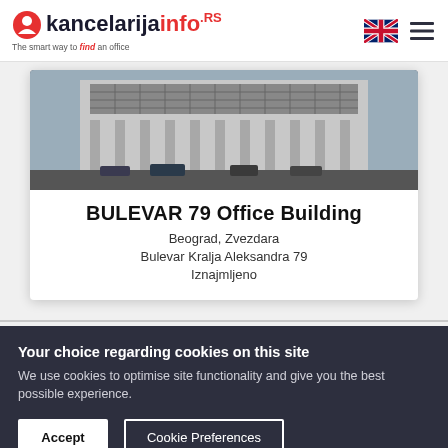kancelarijainfo.rs — The smart way to find an office
[Figure (photo): Photo of BULEVAR 79 Office Building exterior — a multi-story modernist building with columns and grid-pattern facade]
BULEVAR 79 Office Building
Beograd, Zvezdara
Bulevar Kralja Aleksandra 79
Iznajmljeno
Your choice regarding cookies on this site
We use cookies to optimise site functionality and give you the best possible experience.
Accept | Cookie Preferences